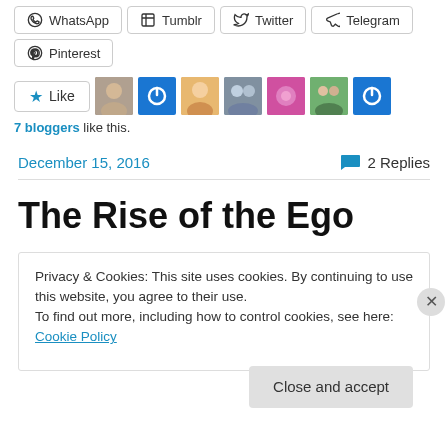WhatsApp, Tumblr, Twitter, Telegram share buttons
Pinterest share button
[Figure (other): Like button and 7 blogger avatars]
7 bloggers like this.
December 15, 2016   2 Replies
The Rise of the Ego
Privacy & Cookies: This site uses cookies. By continuing to use this website, you agree to their use.
To find out more, including how to control cookies, see here: Cookie Policy
Close and accept